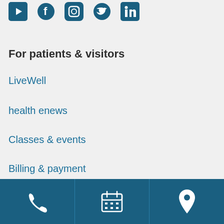[Figure (illustration): Social media icons: YouTube, Facebook, Instagram, Twitter, LinkedIn in dark teal color]
For patients & visitors
LiveWell
health enews
Classes & events
Billing & payment
Financial assistance
Medical records
[Figure (infographic): Dark teal footer bar with three icon sections: phone icon, calendar icon, and map pin/location icon]